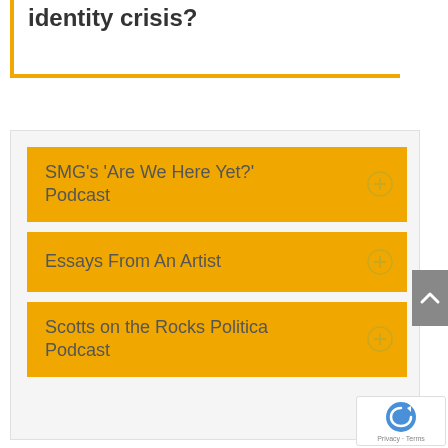identity crisis?
SMG's 'Are We Here Yet?' Podcast
Essays From An Artist
Scotts on the Rocks Politica Podcast